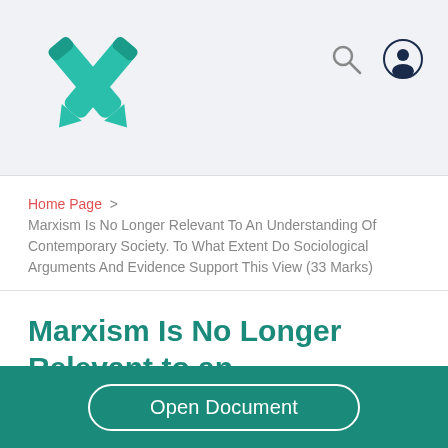[Figure (logo): Stylized teal X logo made of two crossing pencil/pen shapes]
[Figure (other): Search icon (magnifying glass) and user profile icon in top right corner]
Home Page > Marxism Is No Longer Relevant To An Understanding Of Contemporary Society. To What Extent Do Sociological Arguments And Evidence Support This View (33 Marks)
Marxism Is No Longer Relevant to an Understanding of Contemporary Society. to What Extent Do Sociological Arguments and
Open Document